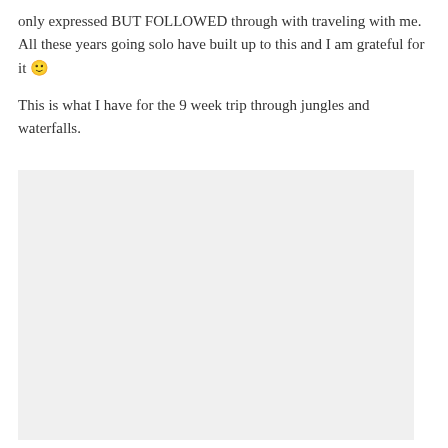only expressed BUT FOLLOWED through with traveling with me. All these years going solo have built up to this and I am grateful for it 🙂
This is what I have for the 9 week trip through jungles and waterfalls.
[Figure (photo): A large light gray placeholder rectangle representing an image, likely a travel photo related to the 9 week jungle and waterfall trip.]